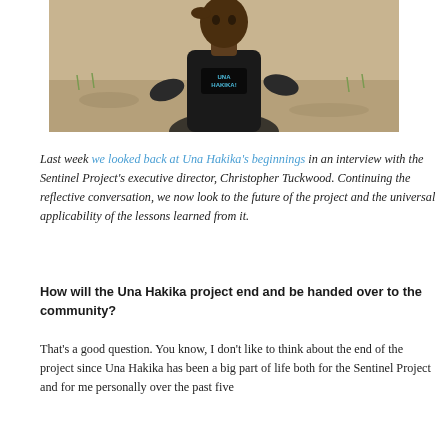[Figure (photo): A person wearing a black Una Hakika t-shirt standing outdoors on dry ground with sparse grass in the background.]
Last week we looked back at Una Hakika's beginnings in an interview with the Sentinel Project's executive director, Christopher Tuckwood. Continuing the reflective conversation, we now look to the future of the project and the universal applicability of the lessons learned from it.
How will the Una Hakika project end and be handed over to the community?
That's a good question. You know, I don't like to think about the end of the project since Una Hakika has been a big part of life both for the Sentinel Project and for me personally over the past five